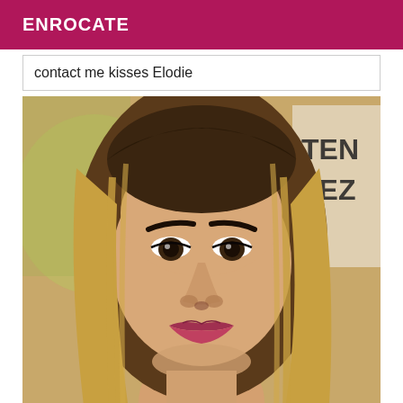ENROCATE
contact me kisses Elodie
[Figure (photo): Close-up selfie of a young woman with long straight blonde hair, dark eyebrows, dark eyes, and full lips wearing dark lipstick, with a blurred background showing partial text letters]